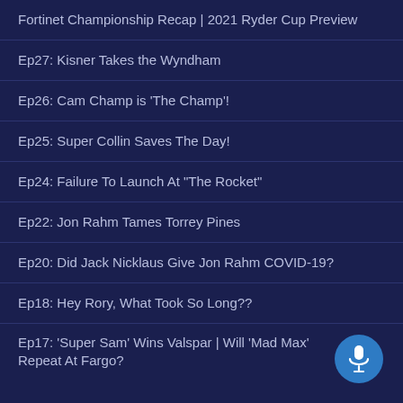Fortinet Championship Recap | 2021 Ryder Cup Preview
Ep27: Kisner Takes the Wyndham
Ep26: Cam Champ is 'The Champ'!
Ep25: Super Collin Saves The Day!
Ep24: Failure To Launch At "The Rocket"
Ep22: Jon Rahm Tames Torrey Pines
Ep20: Did Jack Nicklaus Give Jon Rahm COVID-19?
Ep18: Hey Rory, What Took So Long??
Ep17: 'Super Sam' Wins Valspar | Will 'Mad Max' Repeat At Fargo?
[Figure (illustration): Blue circular microphone button in the bottom-right corner]